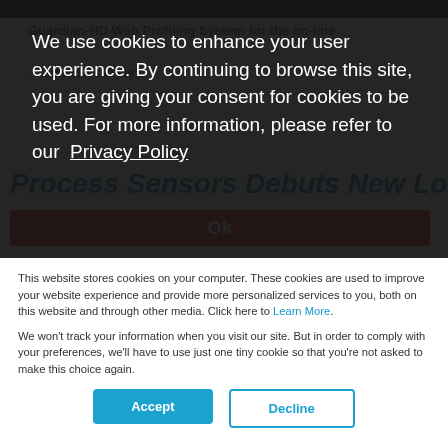Guardian-HD Web Profiling System for the on-line ... adhesives in the ...
We use cookies to enhance your user experience. By continuing to browse this site, you are giving your consent for cookies to be used. For more information, please refer to our Privacy Policy
Process Sensors Debuts New Look
Ok
This website stores cookies on your computer. These cookies are used to improve your website experience and provide more personalized services to you, both on this website and through other media. Click here to Learn More.
We won't track your information when you visit our site. But in order to comply with your preferences, we'll have to use just one tiny cookie so that you're not asked to make this choice again.
Accept
Decline